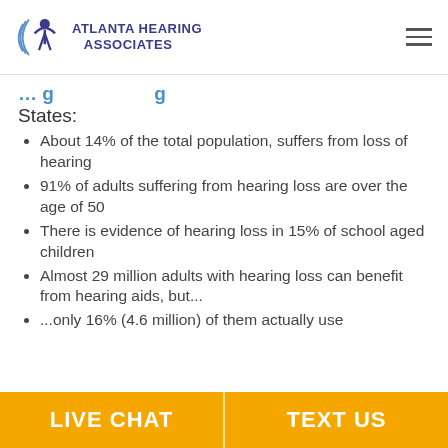Atlanta Hearing Associates
States:
About 14% of the total population, suffers from loss of hearing
91% of adults suffering from hearing loss are over the age of 50
There is evidence of hearing loss in 15% of school aged children
Almost 29 million adults with hearing loss can benefit from hearing aids, but...
...only 16% (4.6 million) of them actually use hearing aids
LIVE CHAT | TEXT US